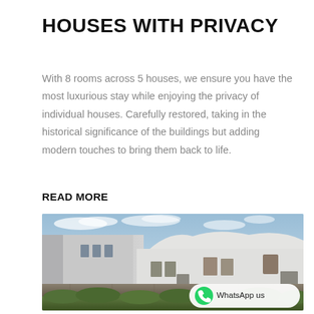HOUSES WITH PRIVACY
With 8 rooms across 5 houses, we ensure you have the most luxurious stay while enjoying the privacy of individual houses. Carefully restored, taking in the historical significance of the buildings but adding modern touches to bring them back to life.
READ MORE
[Figure (photo): Architectural rendering of modern white houses with curved roof forms, stone base wall, and green hedges in the foreground against a blue sky. A WhatsApp us button overlay appears in the bottom right corner.]